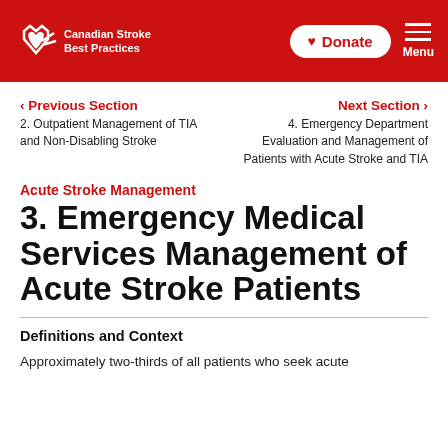Canadian Stroke Best Practices | Donate | Menu
‹ Previous Section
2. Outpatient Management of TIA and Non-Disabling Stroke
Next Section ›
4. Emergency Department Evaluation and Management of Patients with Acute Stroke and TIA
Acute Stroke Management
3. Emergency Medical Services Management of Acute Stroke Patients
Definitions and Context
Approximately two-thirds of all patients who seek acute